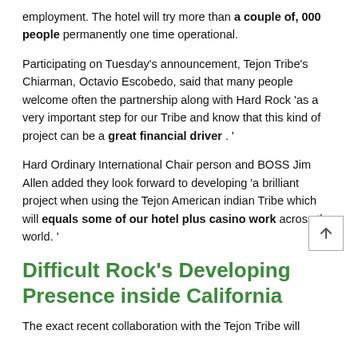employment. The hotel will try more than a couple of, 000 people permanently one time operational.
Participating on Tuesday's announcement, Tejon Tribe's Chiarman, Octavio Escobedo, said that many people welcome often the partnership along with Hard Rock 'as a very important step for our Tribe and know that this kind of project can be a great financial driver . '
Hard Ordinary International Chair person and BOSS Jim Allen added they look forward to developing 'a brilliant project when using the Tejon American indian Tribe which will equals some of our hotel plus casino work across the world. '
Difficult Rock's Developing Presence inside California
The exact recent collaboration with the Tejon Tribe will